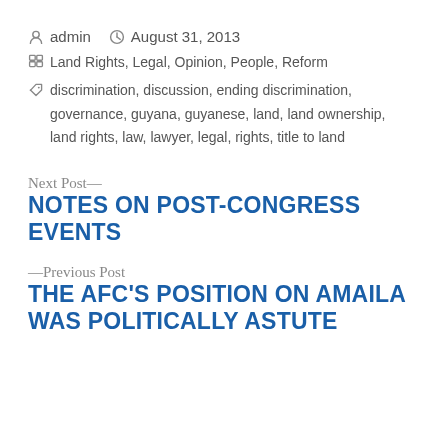admin · August 31, 2013
Land Rights, Legal, Opinion, People, Reform
discrimination, discussion, ending discrimination, governance, guyana, guyanese, land, land ownership, land rights, law, lawyer, legal, rights, title to land
Next Post—
NOTES ON POST-CONGRESS EVENTS
—Previous Post
THE AFC'S POSITION ON AMAILA WAS POLITICALLY ASTUTE